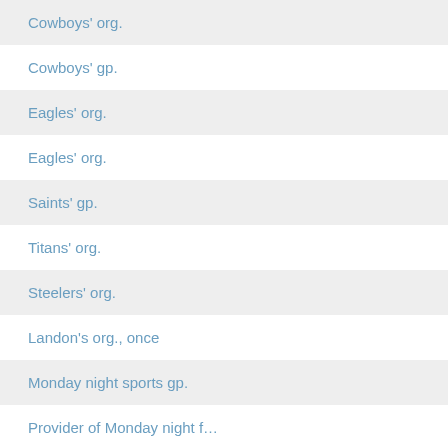Cowboys' org.
Cowboys' gp.
Eagles' org.
Eagles' org.
Saints' gp.
Titans' org.
Steelers' org.
Landon's org., once
Monday night sports gp.
Provider of Monday night f…